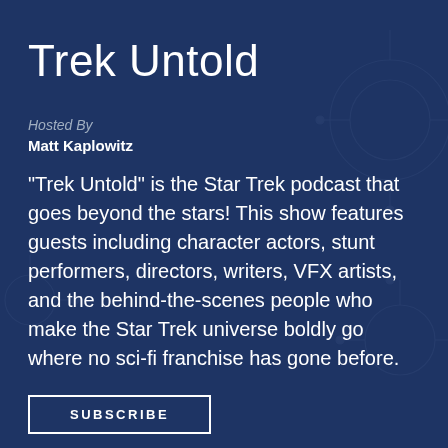Trek Untold
Hosted By
Matt Kaplowitz
"Trek Untold" is the Star Trek podcast that goes beyond the stars! This show features guests including character actors, stunt performers, directors, writers, VFX artists, and the behind-the-scenes people who make the Star Trek universe boldly go where no sci-fi franchise has gone before.
SUBSCRIBE